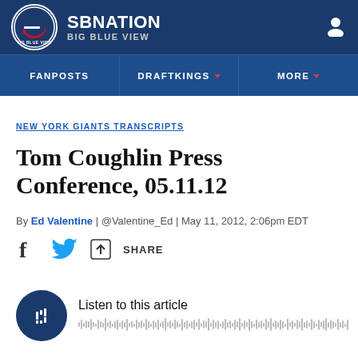[Figure (logo): SBNation Big Blue View header with circular logo, site name SBNATION and BIG BLUE VIEW subtitle, user icon on right]
FANPOSTS | DRAFTKINGS | MORE
NEW YORK GIANTS TRANSCRIPTS
Tom Coughlin Press Conference, 05.11.12
By Ed Valentine | @Valentine_Ed | May 11, 2012, 2:06pm EDT
SHARE
Listen to this article